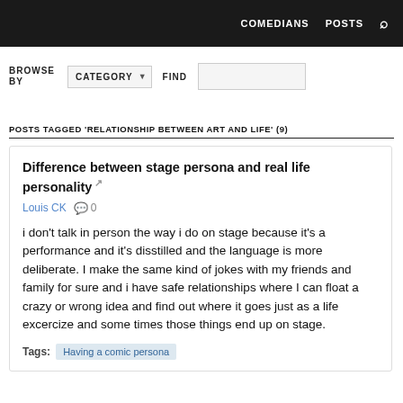COMEDIANS  POSTS  🔍
BROWSE BY  CATEGORY ▾  FIND
POSTS TAGGED 'RELATIONSHIP BETWEEN ART AND LIFE' (9)
Difference between stage persona and real life personality
Louis CK  💬 0
i don't talk in person the way i do on stage because it's a performance and it's disstilled and the language is more deliberate. I make the same kind of jokes with my friends and family for sure and i have safe relationships where I can float a crazy or wrong idea and find out where it goes just as a life excercize and some times those things end up on stage.
Tags:  Having a comic persona